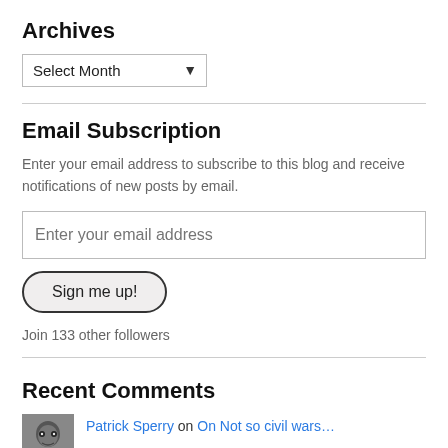Archives
Select Month
Email Subscription
Enter your email address to subscribe to this blog and receive notifications of new posts by email.
Enter your email address
Sign me up!
Join 133 other followers
Recent Comments
Patrick Sperry on On Not so civil wars…